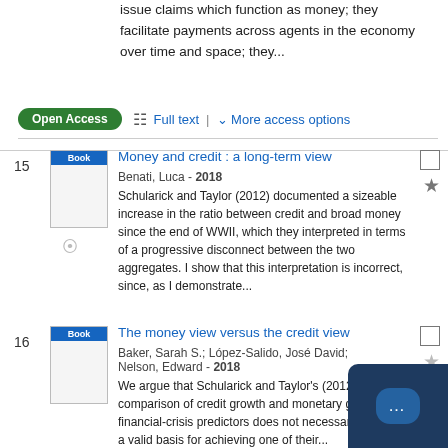issue claims which function as money; they facilitate payments across agents in the economy over time and space; they...
Open Access | Full text | More access options
15. Money and credit : a long-term view. Benati, Luca - 2018. Schularick and Taylor (2012) documented a sizeable increase in the ratio between credit and broad money since the end of WWII, which they interpreted in terms of a progressive disconnect between the two aggregates. I show that this interpretation is incorrect, since, as I demonstrate...
16. The money view versus the credit view. Baker, Sarah S.; López-Salido, José David; Nelson, Edward - 2018. We argue that Schularick and Taylor's (2012) comparison of credit growth and monetary gro... as financial-crisis predictors does not necessarily provide a valid basis for achieving one of their...